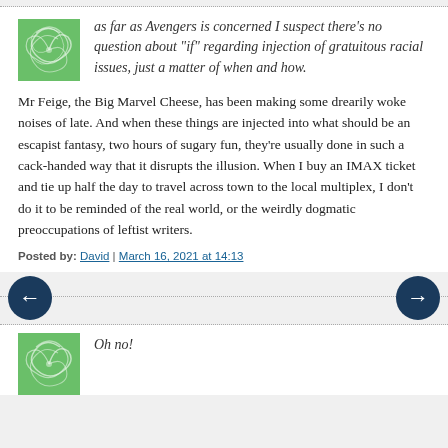as far as Avengers is concerned I suspect there’s no question about “if” regarding injection of gratuitous racial issues, just a matter of when and how.
Mr Feige, the Big Marvel Cheese, has been making some drearily woke noises of late. And when these things are injected into what should be an escapist fantasy, two hours of sugary fun, they’re usually done in such a cack-handed way that it disrupts the illusion. When I buy an IMAX ticket and tie up half the day to travel across town to the local multiplex, I don’t do it to be reminded of the real world, or the weirdly dogmatic preoccupations of leftist writers.
Posted by: David | March 16, 2021 at 14:13
Oh no!